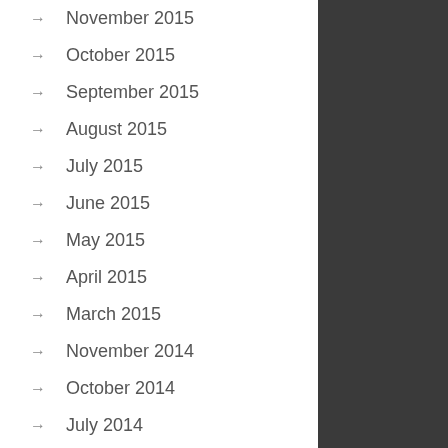November 2015
October 2015
September 2015
August 2015
July 2015
June 2015
May 2015
April 2015
March 2015
November 2014
October 2014
July 2014
June 2014
May 2014
April 2014
March 2014
February 2014
January 2014